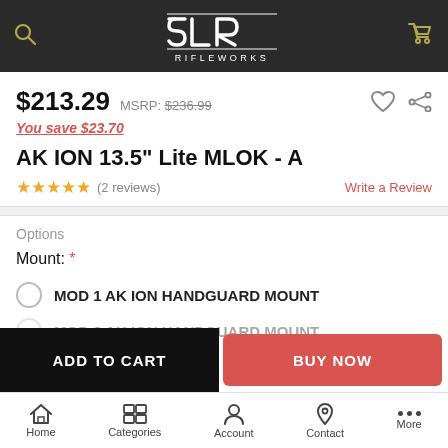[Figure (logo): SLR Rifleworks logo in white on dark background header with search and cart icons]
$213.29  MSRP: $236.99
You save $23.70
AK ION 13.5" Lite MLOK - A
★★★★★ (2 reviews)  Write a Review
Options
Mount: *
MOD 1 AK ION HANDGUARD MOUNT
MOD 2 AK ION HANDGUARD MOUNT
ADD TO CART
BUY NOW
Home  Categories  Account  Contact  More